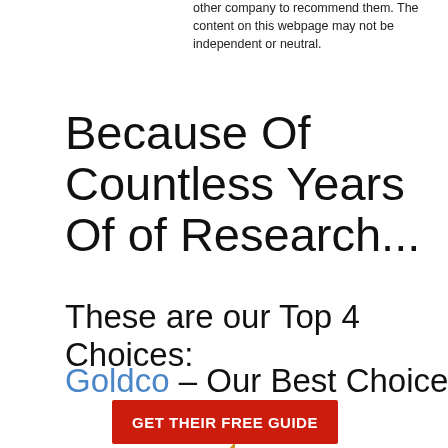other company to recommend them. The content on this webpage may not be independent or neutral.
Because Of Countless Years Of of Research...
These are our Top 4 Choices:
Goldco – Our Best Choice
[Figure (logo): Goldco logo with golden flame swirl above stylized GOLDCO text with registered trademark symbol]
GET THEIR FREE GUIDE